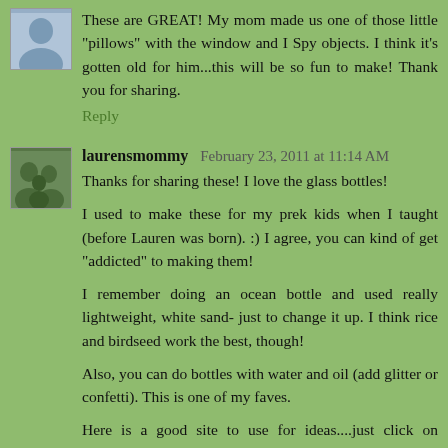[Figure (photo): Small avatar photo of a person, top-left of first comment]
These are GREAT! My mom made us one of those little "pillows" with the window and I Spy objects. I think it's gotten old for him...this will be so fun to make! Thank you for sharing.
Reply
[Figure (photo): Small avatar photo of a family group, second comment]
laurensmommy  February 23, 2011 at 11:14 AM
Thanks for sharing these! I love the glass bottles!
I used to make these for my prek kids when I taught (before Lauren was born). :) I agree, you can kind of get "addicted" to making them!
I remember doing an ocean bottle and used really lightweight, white sand- just to change it up. I think rice and birdseed work the best, though!
Also, you can do bottles with water and oil (add glitter or confetti). This is one of my faves.
Here is a good site to use for ideas....just click on "bottles to